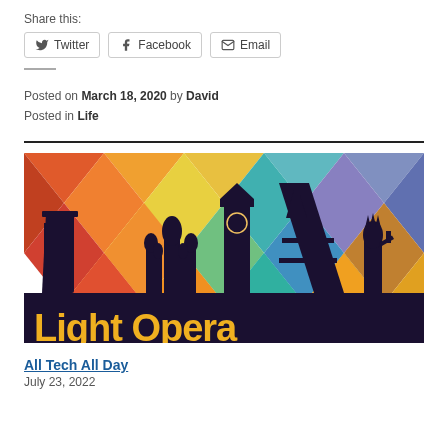Share this:
Twitter  Facebook  Email
Posted on March 18, 2020 by David
Posted in Life
[Figure (illustration): Colorful low-poly geometric background with world landmark silhouettes including Leaning Tower of Pisa, Saint Basil's Cathedral, Big Ben, Eiffel Tower, and Statue of Liberty. Text reads 'Light Opera' in yellow at the bottom.]
All Tech All Day
July 23, 2022